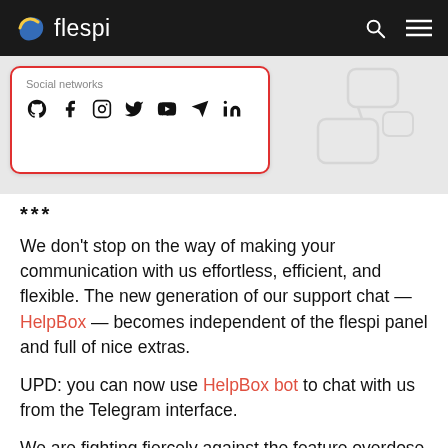flespi
[Figure (screenshot): Screenshot showing a 'Social networks' section with icons for GitHub, Facebook, Instagram, Twitter, YouTube, Telegram, and LinkedIn, circled in red. Background has speech bubble illustrations.]
***
We don't stop on the way of making your communication with us effortless, efficient, and flexible. The new generation of our support chat — HelpBox — becomes independent of the flespi panel and full of nice extras.
UPD: you can now use HelpBox bot to chat with us from the Telegram interface.
We are fighting fiercely against the feature overdose and carefully consider each new request. Hope you find our picks handy when chatting with